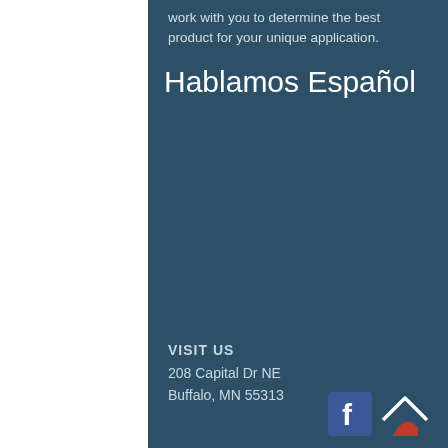work with you to determine the best product for your unique application.
Hablamos Español
VISIT US
208 Capital Dr NE
Buffalo, MN 55313
[Figure (logo): Facebook logo icon (blue square with white f) and a home/roof logo icon with red accent]